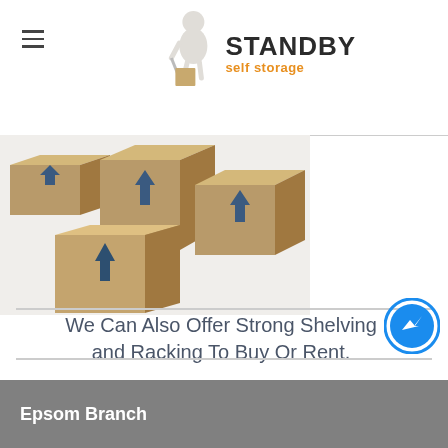[Figure (logo): Standby Self Storage logo with a cartoon figure pushing a dolly with boxes, text STANDBY in black bold and 'self storage' in orange]
[Figure (photo): Stack of cardboard moving boxes with dark blue upward arrows printed on them, on a white/gray background]
We Can Also Offer Strong Shelving and Racking To Buy Or Rent.
[Figure (other): Facebook Messenger icon - blue circle with white lightning bolt chat bubble]
Epsom Branch